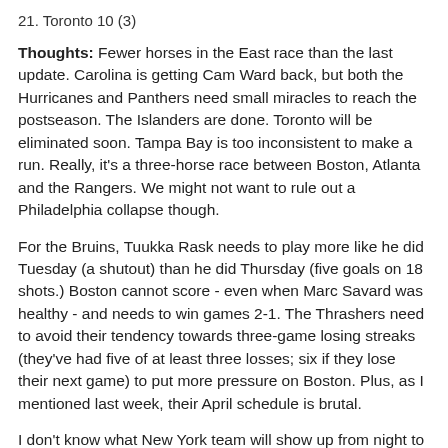21. Toronto 10 (3)
Thoughts: Fewer horses in the East race than the last update. Carolina is getting Cam Ward back, but both the Hurricanes and Panthers need small miracles to reach the postseason. The Islanders are done. Toronto will be eliminated soon. Tampa Bay is too inconsistent to make a run. Really, it's a three-horse race between Boston, Atlanta and the Rangers. We might not want to rule out a Philadelphia collapse though.
For the Bruins, Tuukka Rask needs to play more like he did Tuesday (a shutout) than he did Thursday (five goals on 18 shots.) Boston cannot score - even when Marc Savard was healthy - and needs to win games 2-1. The Thrashers need to avoid their tendency towards three-game losing streaks (they've had five of at least three losses; six if they lose their next game) to put more pressure on Boston. Plus, as I mentioned last week, their April schedule is brutal.
I don't know what New York team will show up from night to night. Neither does John Tortorella, I'm betting. Marian Gaborik and Henrik Lundqvist need to carry that team.